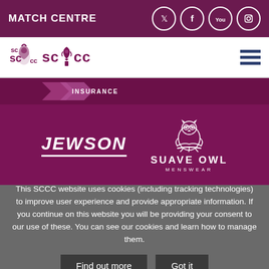MATCH CENTRE
[Figure (logo): SCCC cricket club logo with lion emblem on white navigation bar with hamburger menu]
[Figure (logo): Purple sponsors section showing partial insurance logo at top, then JEWSON logo and SUAVE OWL MENSWEAR logo with owl illustration]
This SCCC website uses cookies (including tracking technologies) to improve user experience and provide appropriate information. If you continue on this website you will be providing your consent to our use of these. You can see our cookies and learn how to manage them.
Find out more
Got it